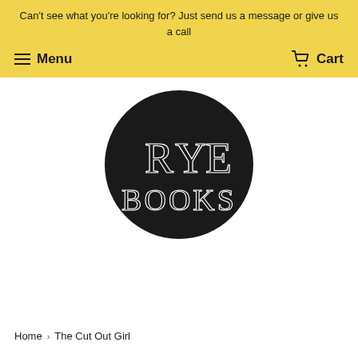Can't see what you're looking for? Just send us a message or give us a call
Menu | Cart
[Figure (logo): Rye Books logo: black circle with decorative serif text 'RYE BOOKS' in white]
Home › The Cut Out Girl